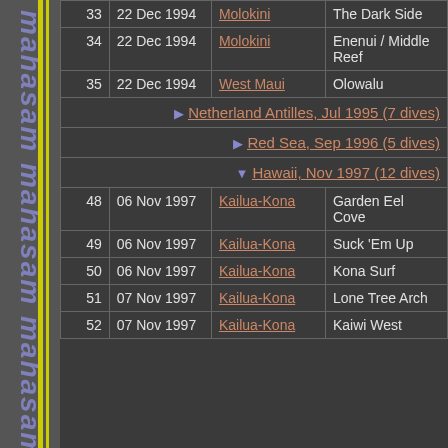| # | Date | Location | Dive Site |
| --- | --- | --- | --- |
| 33 | 22 Dec 1994 | Molokini | The Dark Side |
| 34 | 22 Dec 1994 | Molokini | Enenui / Middle Reef |
| 35 | 22 Dec 1994 | West Maui | Olowalu |
| — | Netherland Antilles, Jul 1995 (7 dives) |  |  |
| — | Red Sea, Sep 1996 (5 dives) |  |  |
| — | Hawaii, Nov 1997 (12 dives) |  |  |
| 48 | 06 Nov 1997 | Kailua-Kona | Garden Eel Cove |
| 49 | 06 Nov 1997 | Kailua-Kona | Suck 'Em Up |
| 50 | 06 Nov 1997 | Kailua-Kona | Kona Surf |
| 51 | 07 Nov 1997 | Kailua-Kona | Lone Tree Arch |
| 52 | 07 Nov 1997 | Kailua-Kona | Kaiwi West |